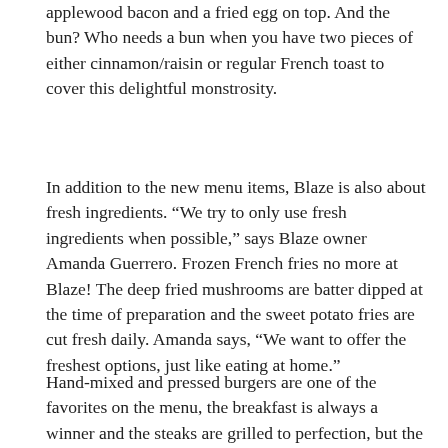applewood bacon and a fried egg on top. And the bun? Who needs a bun when you have two pieces of either cinnamon/raisin or regular French toast to cover this delightful monstrosity.
In addition to the new menu items, Blaze is also about fresh ingredients. “We try to only use fresh ingredients when possible,” says Blaze owner Amanda Guerrero. Frozen French fries no more at Blaze! The deep fried mushrooms are batter dipped at the time of preparation and the sweet potato fries are cut fresh daily. Amanda says, “We want to offer the freshest options, just like eating at home.”
Hand-mixed and pressed burgers are one of the favorites on the menu, the breakfast is always a winner and the steaks are grilled to perfection, but the newest item is the WHATcho. A WHATcho is a whatever nacho and simply replaces the ever popular tortilla chip with potato options. Choose from fresh cut fries, sweet potato fries, tater tots or home fries as your base and then let the culinary geniuses in the back prepare a